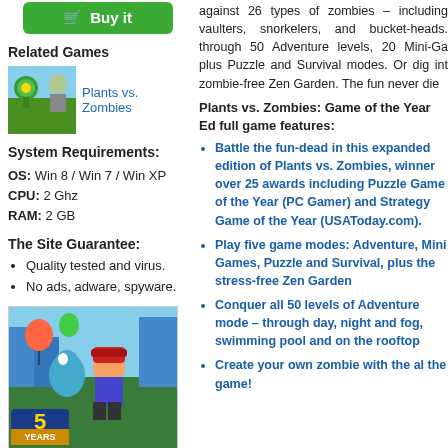[Figure (other): Green 'Buy it' button with shopping cart icon]
Related Games
[Figure (other): Plants vs. Zombies game thumbnail image]
Plants vs. Zombies
System Requirements:
OS: Win 8 / Win 7 / Win XP
CPU: 2 Ghz
RAM: 2 GB
The Site Guarantee:
Quality tested and virus.
No ads, adware, spyware.
[Figure (illustration): Subway Surfers 5 YEARS game promotional artwork showing cartoon characters]
[Figure (illustration): Another game thumbnail image, partially visible at bottom]
against 26 types of zombies – including vaulters, snorkelers, and bucket-heads. through 50 Adventure levels, 20 Mini-Ga plus Puzzle and Survival modes. Or dig int zombie-free Zen Garden. The fun never die
Plants vs. Zombies: Game of the Year Ed full game features:
Battle the fun-dead in this expanded edition of Plants vs. Zombies, winner over 25 awards including Puzzle Game of the Year (PC Gamer) and Strategy Game of the Year (USAToday.com).
Play five game modes: Adventure, Mini Games, Puzzle and Survival, plus the stress-free Zen Garden
Conquer all 50 levels of Adventure mode – through day, night and fog, swimming pool and on the rooftop
Create your own zombie with the al the game!